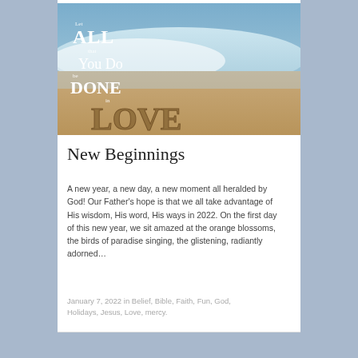[Figure (photo): Beach photo with words written in sand: 'Let ALL that You Do be DONE in LOVE', with ocean waves in background]
New Beginnings
A new year, a new day, a new moment all heralded by God! Our Father's hope is that we all take advantage of His wisdom, His word, His ways in 2022. On the first day of this new year, we sit amazed at the orange blossoms, the birds of paradise singing, the glistening, radiantly adorned…
January 7, 2022 in Belief, Bible, Faith, Fun, God, Holidays, Jesus, Love, mercy.